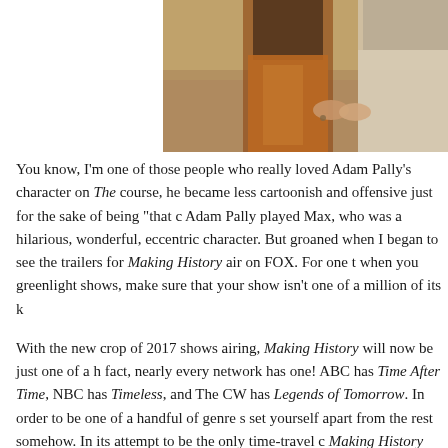[Figure (photo): Two women holding hands outdoors, one wearing a brown/caramel coat and the other in a light floral dress, with blurred natural background]
You know, I'm one of those people who really loved Adam Pally's character on The [cut off] course, he became less cartoonish and offensive just for the sake of being "that c[cut off] Adam Pally played Max, who was a hilarious, wonderful, eccentric character. But [cut off] groaned when I began to see the trailers for Making History air on FOX. For one t[cut off] when you greenlight shows, make sure that your show isn't one of a million of its k[cut off]
With the new crop of 2017 shows airing, Making History will now be just one of a h[cut off] fact, nearly every network has one! ABC has Time After Time, NBC has Timeless, [cut off] and The CW has Legends of Tomorrow. In order to be one of a handful of genre s[cut off] set yourself apart from the rest somehow. In its attempt to be the only time-travel c[cut off] Making History sorely missed the mark.
If you predicted, by the pilot, that this show would be all about a slacker-turned-tim[cut off] pop culture to woo a young woman during the American Revolution — you'd be ex[cut off]